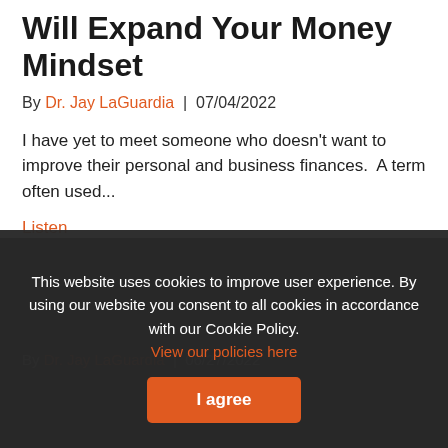Will Expand Your Money Mindset
By Dr. Jay LaGuardia | 07/04/2022
I have yet to meet someone who doesn't want to improve their personal and business finances.  A term often used...
Listen
Does Time Heal All Wounds?
By Dr. Jay LaGuardia | 06/27/2022
This website uses cookies to improve user experience. By using our website you consent to all cookies in accordance with our Cookie Policy. View our policies here
I agree